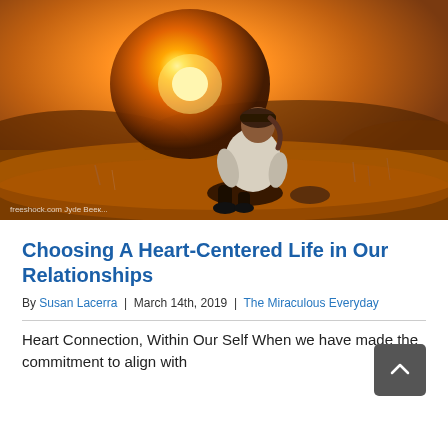[Figure (photo): Person sitting on rocks viewed from behind, watching a dramatic golden sunset over hills and dry grass. Warm orange and golden tones throughout.]
Choosing A Heart-Centered Life in Our Relationships
By Susan Lacerra | March 14th, 2019 | The Miraculous Everyday
Heart Connection, Within Our Self When we have made the commitment to align with